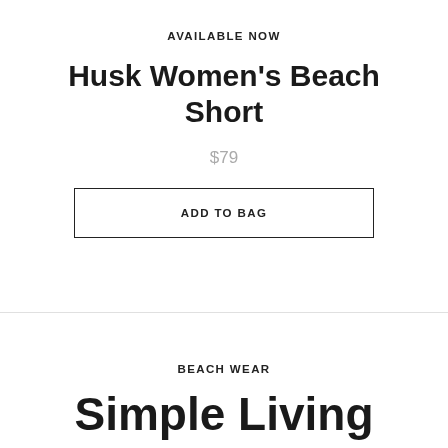AVAILABLE NOW
Husk Women's Beach Short
$79
ADD TO BAG
BEACH WEAR
Simple Living